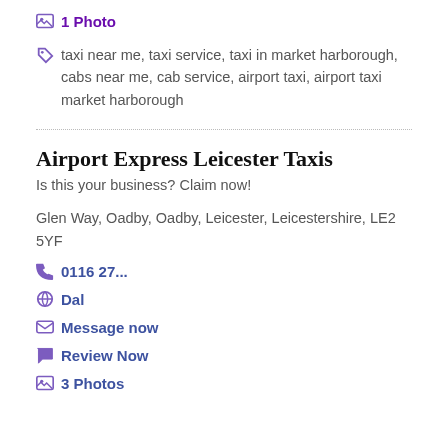1 Photo
taxi near me, taxi service, taxi in market harborough, cabs near me, cab service, airport taxi, airport taxi market harborough
Airport Express Leicester Taxis
Is this your business? Claim now!
Glen Way, Oadby, Oadby, Leicester, Leicestershire, LE2 5YF
0116 27...
Dal
Message now
Review Now
3 Photos